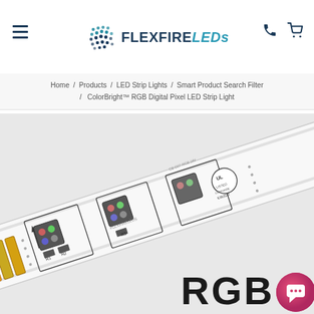FLEXFIRE LEDs
Home / Products / LED Strip Lights / Smart Product Search Filter / ColorBright™ RGB Digital Pixel LED Strip Light
[Figure (photo): Close-up photo of an RGB LED strip light (ColorBright™ Digital Pixel LED Strip Light) on a white PCB with text 'FLEXFIRELEDS', '24V', 'CB-D07-RGB-24V', UL listing mark, and 'E362522'. Multiple RGB LEDs visible, along with resistor components labeled R1, R2, R3. Orange and gold connection pads visible at bottom left. 'RGB' text label in bold black at bottom right of image.]